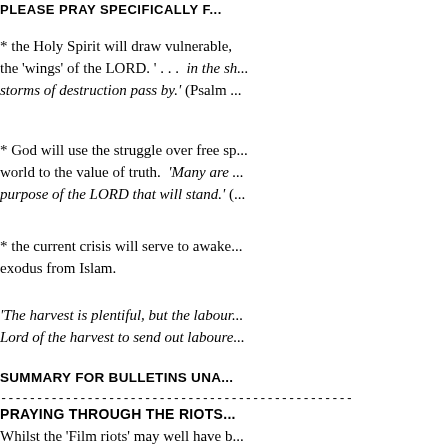PLEASE PRAY SPECIFICALLY F...
* the Holy Spirit will draw vulnerable, ... the 'wings' of the LORD. '. . . in the sh... storms of destruction pass by.' (Psalm ...
* God will use the struggle over free sp... world to the value of truth. 'Many are ... purpose of the LORD that will stand.' (...
* the current crisis will serve to awake... exodus from Islam.
'The harvest is plentiful, but the labour... Lord of the harvest to send out laboure...
SUMMARY FOR BULLETINS UNA...
------------------------------------------------
PRAYING THROUGH THE RIOTS...
Whilst the 'Film riots' may well have b... planned 9/11 revenge attacks on US em... spread around the world like 'fire'. For... more about the fact that Islam dem...